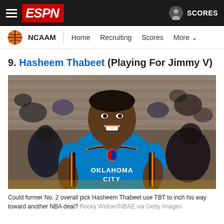ESPN NCAAM — Home | Recruiting | Scores | More
9. Hasheem Thabeet (Playing For Jimmy V)
[Figure (photo): Hasheem Thabeet in an Oklahoma City Thunder blue jersey smiling, with a blurred stadium crowd in the background.]
Could former No. 2 overall pick Hasheem Thabeet use TBT to inch his way toward another NBA deal? Rocky Widner/NBAE via Getty Images